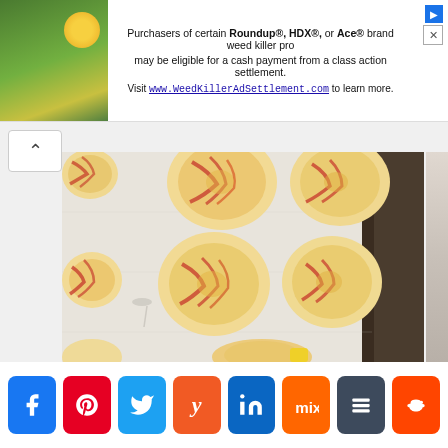[Figure (screenshot): Advertisement banner: Purchasers of certain Roundup®, HDX®, or Ace® brand weed killer products may be eligible for a cash payment from a class action settlement. Visit www.WeedKillerAdSettlement.com to learn more.]
[Figure (photo): Overhead photo of pizza rolls / pinwheel pastries on parchment paper on a baking tray, showing 6 visible spiral rolls with tomato sauce and cheese filling]
[Figure (infographic): Social share bar with buttons: Facebook, Pinterest, Twitter, Yummly, LinkedIn, Mix, Buffer, Reddit]